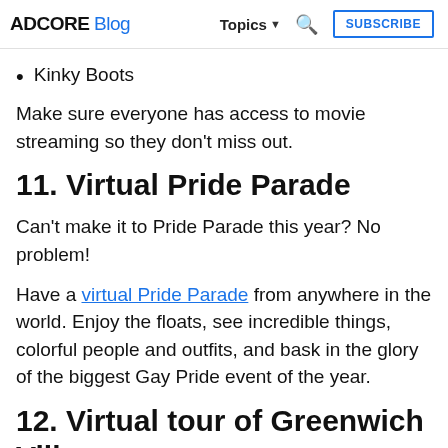ADCORE Blog  Topics ▾  🔍  SUBSCRIBE
Kinky Boots
Make sure everyone has access to movie streaming so they don't miss out.
11. Virtual Pride Parade
Can't make it to Pride Parade this year? No problem!
Have a virtual Pride Parade from anywhere in the world. Enjoy the floats, see incredible things, colorful people and outfits, and bask in the glory of the biggest Gay Pride event of the year.
12. Virtual tour of Greenwich Village